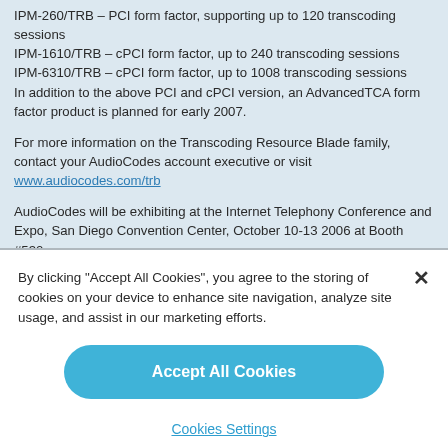IPM-260/TRB – PCI form factor, supporting up to 120 transcoding sessions
IPM-1610/TRB – cPCI form factor, up to 240 transcoding sessions
IPM-6310/TRB – cPCI form factor, up to 1008 transcoding sessions
In addition to the above PCI and cPCI version, an AdvancedTCA form factor product is planned for early 2007.
For more information on the Transcoding Resource Blade family, contact your AudioCodes account executive or visit www.audiocodes.com/trb
AudioCodes will be exhibiting at the Internet Telephony Conference and Expo, San Diego Convention Center, October 10-13 2006 at Booth #530.
By clicking "Accept All Cookies", you agree to the storing of cookies on your device to enhance site navigation, analyze site usage, and assist in our marketing efforts.
Accept All Cookies
Cookies Settings